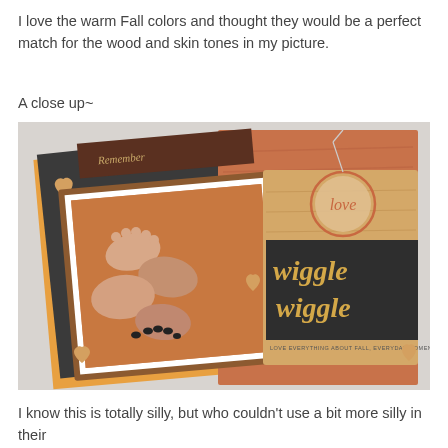I love the warm Fall colors and thought they would be a perfect match for the wood and skin tones in my picture.
A close up~
[Figure (photo): A close-up scrapbook layout featuring a photo of multiple pairs of feet on a wooden floor, surrounded by fall-colored decorative papers in orange, dark brown/charcoal, and kraft tones. The right side features wooden letter embellishments spelling 'wiggle wiggle' in script, a circular 'love' tag, small wooden heart embellishments, and text reading 'LOVE EVERYTHING ABOUT FALL, EVERYDAY MOMENTS...']
I know this is totally silly, but who couldn't use a bit more silly in their